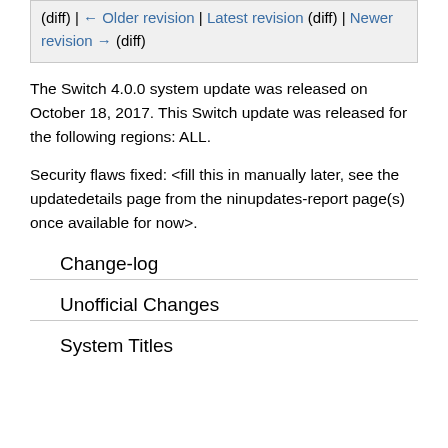(diff) ← Older revision | Latest revision (diff) | Newer revision → (diff)
The Switch 4.0.0 system update was released on October 18, 2017. This Switch update was released for the following regions: ALL.
Security flaws fixed: <fill this in manually later, see the updatedetails page from the ninupdates-report page(s) once available for now>.
Change-log
Unofficial Changes
System Titles